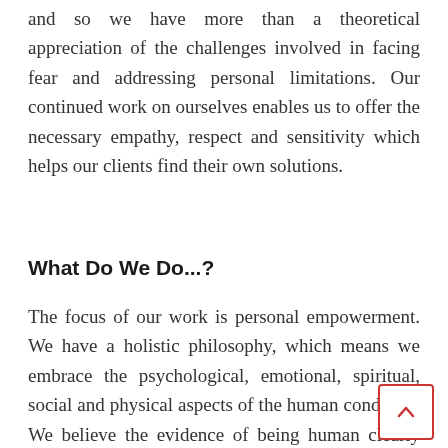and so we have more than a theoretical appreciation of the challenges involved in facing fear and addressing personal limitations. Our continued work on ourselves enables us to offer the necessary empathy, respect and sensitivity which helps our clients find their own solutions.
What Do We Do...?
The focus of our work is personal empowerment. We have a holistic philosophy, which means we embrace the psychological, emotional, spiritual, social and physical aspects of the human condition. We believe the evidence of being human clearly illustrates the limitations of separating the